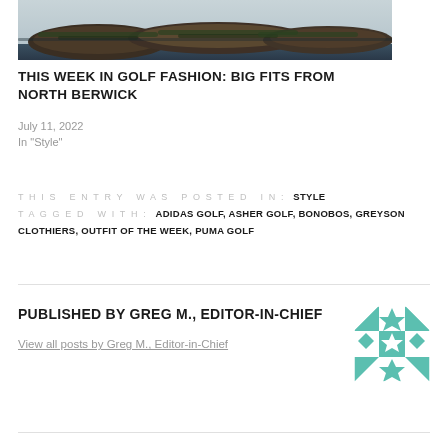[Figure (photo): Partial photo of rocks covered with seaweed/kelp near water, cropped at top of view]
THIS WEEK IN GOLF FASHION: BIG FITS FROM NORTH BERWICK
July 11, 2022
In "Style"
THIS ENTRY WAS POSTED IN: STYLE TAGGED WITH: ADIDAS GOLF, ASHER GOLF, BONOBOS, GREYSON CLOTHIERS, OUTFIT OF THE WEEK, PUMA GOLF
PUBLISHED BY GREG M., EDITOR-IN-CHIEF
View all posts by Greg M., Editor-in-Chief
[Figure (illustration): Teal and white geometric quilt-pattern square avatar/logo]